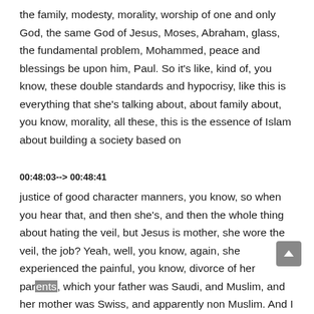the family, modesty, morality, worship of one and only God, the same God of Jesus, Moses, Abraham, glass, the fundamental problem, Mohammed, peace and blessings be upon him, Paul. So it's like, kind of, you know, these double standards and hypocrisy, like this is everything that she's talking about, about family about, you know, morality, all these, this is the essence of Islam about building a society based on
00:48:03--> 00:48:41
justice of good character manners, you know, so when you hear that, and then she's, and then the whole thing about hating the veil, but Jesus is mother, she wore the veil, the job? Yeah, well, you know, again, she experienced the painful, you know, divorce of her parents, which your father was Saudi, and Muslim, and her mother was Swiss, and apparently non Muslim. And I think that really hurt her. And of